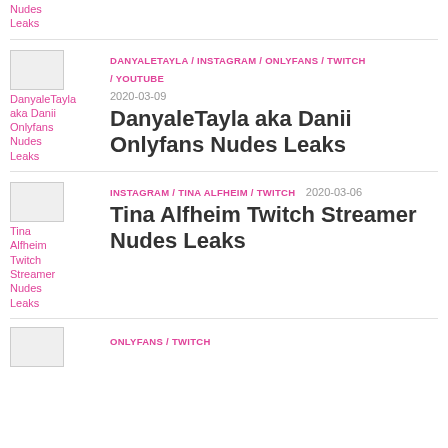Nudes
Leaks
[Figure (photo): Thumbnail image for DanyaleTayla aka Danii Onlyfans Nudes Leaks]
DanyaleTayla aka Danii Onlyfans Nudes Leaks
DANYALETAYLA / INSTAGRAM / ONLYFANS / TWITCH / YOUTUBE
2020-03-09
DanyaleTayla aka Danii Onlyfans Nudes Leaks
[Figure (photo): Thumbnail image for Tina Alfheim Twitch Streamer Nudes Leaks]
Tina Alfheim Twitch Streamer Nudes Leaks
INSTAGRAM / TINA ALFHEIM / TWITCH
2020-03-06
Tina Alfheim Twitch Streamer Nudes Leaks
[Figure (photo): Thumbnail image for partial entry at bottom]
ONLYFANS / TWITCH